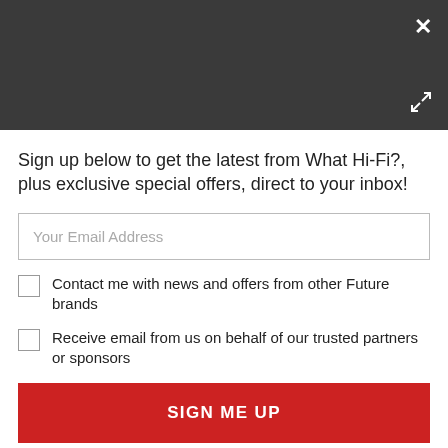[Figure (screenshot): Dark grey header bar with white X close button top-right and white expand/resize icon bottom-right]
Sign up below to get the latest from What Hi-Fi?, plus exclusive special offers, direct to your inbox!
Your Email Address
Contact me with news and offers from other Future brands
Receive email from us on behalf of our trusted partners or sponsors
SIGN ME UP